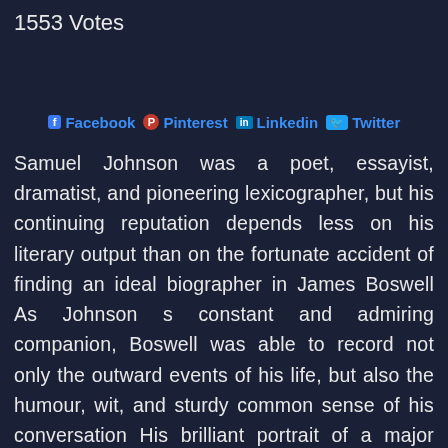1553 Votes
Facebook Pinterest Linkedin Twitter
Samuel Johnson was a poet, essayist, dramatist, and pioneering lexicographer, but his continuing reputation depends less on his literary output than on the fortunate accident of finding an ideal biographer in James Boswell As Johnson s constant and admiring companion, Boswell was able to record not only the outward events of his life, but also the humour, wit, and sturdy common sense of his conversation His brilliant portrait of a major literary figure of the eighteenth century, enriched by historical and social detail, remains a monument to the art of